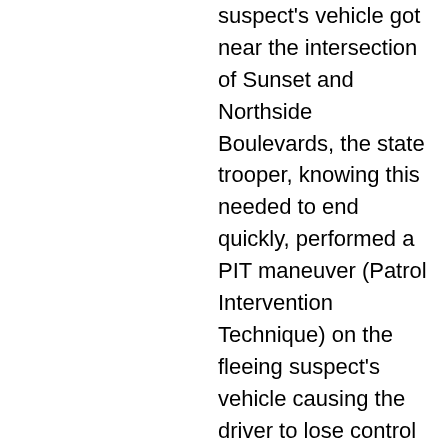suspect's vehicle got near the intersection of Sunset and Northside Boulevards, the state trooper, knowing this needed to end quickly, performed a PIT maneuver (Patrol Intervention Technique) on the fleeing suspect's vehicle causing the driver to lose control and spin out. Two of the suspects immediately gave up according to Master Trooper David Jones, but the driver, who still had a little fight in him, fled on foot with a state trooper right behind him. Master Trooper Jones said that the man ran for about a mile through the wooded and sometimes rough area until he came upon a high concrete retaining-type wall. That's